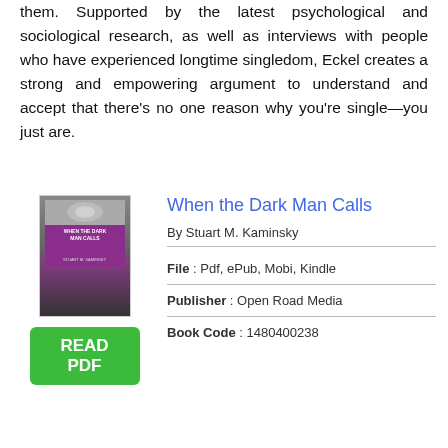them. Supported by the latest psychological and sociological research, as well as interviews with people who have experienced longtime singledom, Eckel creates a strong and empowering argument to understand and accept that there's no one reason why you're single—you just are.
When the Dark Man Calls
By Stuart M. Kaminsky
[Figure (illustration): Book cover for 'When the Dark Man Calls' by Stuart M. Kaminsky, dark toned cover with atmospheric imagery]
[Figure (other): Green button labeled READ PDF]
File : Pdf, ePub, Mobi, Kindle
Publisher : Open Road Media
Book Code : 1480400238